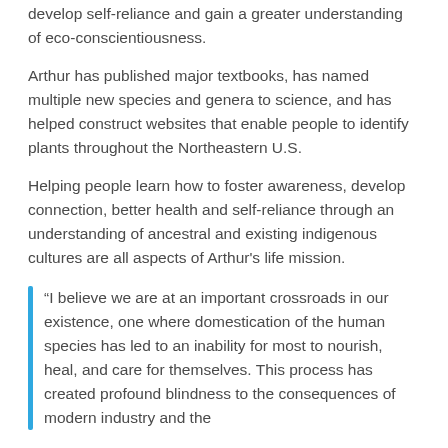develop self-reliance and gain a greater understanding of eco-conscientiousness.
Arthur has published major textbooks, has named multiple new species and genera to science, and has helped construct websites that enable people to identify plants throughout the Northeastern U.S.
Helping people learn how to foster awareness, develop connection, better health and self-reliance through an understanding of ancestral and existing indigenous cultures are all aspects of Arthur's life mission.
“I believe we are at an important crossroads in our existence, one where domestication of the human species has led to an inability for most to nourish, heal, and care for themselves. This process has created profound blindness to the consequences of modern industry and the